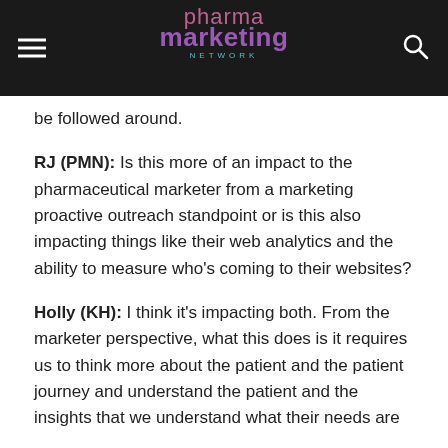pharma marketing network
be followed around.
RJ (PMN): Is this more of an impact to the pharmaceutical marketer from a marketing proactive outreach standpoint or is this also impacting things like their web analytics and the ability to measure who’s coming to their websites?
Holly (KH): I think it’s impacting both. From the marketer perspective, what this does is it requires us to think more about the patient and the patient journey and understand the patient and the insights that we understand what their needs are